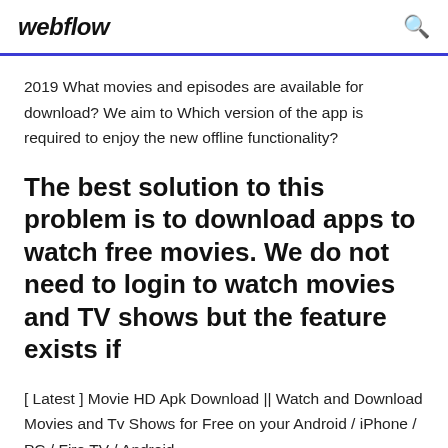webflow
2019 What movies and episodes are available for download? We aim to Which version of the app is required to enjoy the new offline functionality?
The best solution to this problem is to download apps to watch free movies. We do not need to login to watch movies and TV shows but the feature exists if
[ Latest ] Movie HD Apk Download || Watch and Download Movies and Tv Shows for Free on your Android / iPhone / PC / Fire TV / Android